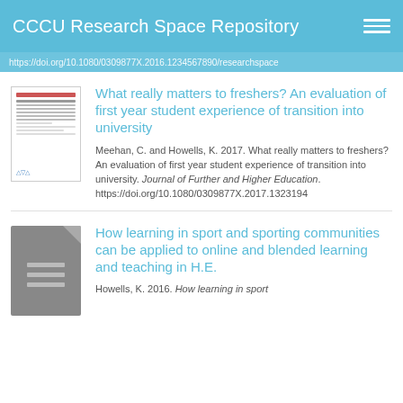CCCU Research Space Repository
https://doi.org/...
What really matters to freshers? An evaluation of first year student experience of transition into university
Meehan, C. and Howells, K. 2017. What really matters to freshers? An evaluation of first year student experience of transition into university. Journal of Further and Higher Education. https://doi.org/10.1080/0309877X.2017.1323194
How learning in sport and sporting communities can be applied to online and blended learning and teaching in H.E.
Howells, K. 2016. How learning in sport